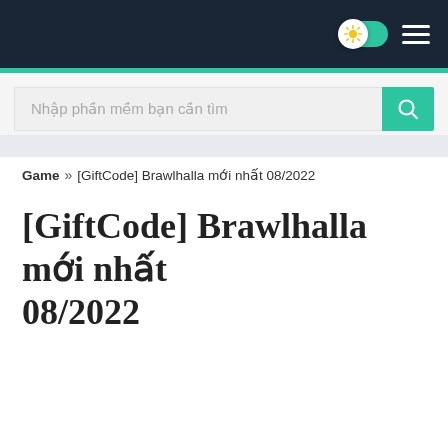Navigation bar with dark background, toggle (sun icon), and hamburger menu
Nhập phần mềm bạn cần tìm
Game » [GiftCode] Brawlhalla mới nhất 08/2022
[GiftCode] Brawlhalla mới nhất 08/2022